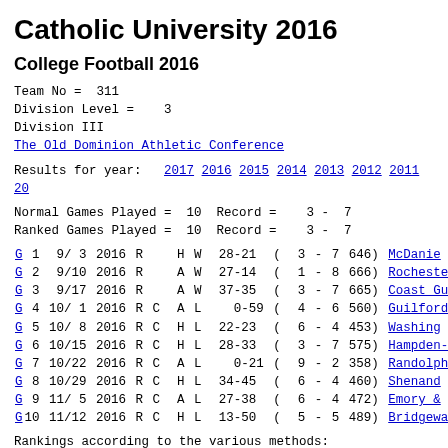Catholic University 2016
College Football 2016
Team No =  311
Division Level =   3
Division III
The Old Dominion Athletic Conference
Results for year:  2017 2016 2015 2014 2013 2012 2011 20...
Normal Games Played =  10  Record =   3 -  7
Ranked Games Played =  10  Record =   3 -  7
| G | 1 | 9/ 3 | 2016 | R |  | H | W | 28-21 | ( | 3 | - | 7 | 646) | McDanie... |
| G | 2 | 9/10 | 2016 | R |  | A | W | 27-14 | ( | 1 | - | 8 | 666) | Rocheste... |
| G | 3 | 9/17 | 2016 | R |  | A | W | 37-35 | ( | 3 | - | 7 | 665) | Coast Gu... |
| G | 4 | 10/ 1 | 2016 | R | C | A | L | 0-59 | ( | 4 | - | 6 | 560) | Guilford... |
| G | 5 | 10/ 8 | 2016 | R | C | H | L | 22-23 | ( | 6 | - | 4 | 453) | Washing... |
| G | 6 | 10/15 | 2016 | R | C | H | L | 28-33 | ( | 3 | - | 7 | 575) | Hampden-... |
| G | 7 | 10/22 | 2016 | R | C | A | L | 0-21 | ( | 9 | - | 2 | 358) | Randolph... |
| G | 8 | 10/29 | 2016 | R | C | H | L | 34-45 | ( | 6 | - | 4 | 460) | Shenan... |
| G | 9 | 11/ 5 | 2016 | R | C | A | L | 27-38 | ( | 6 | - | 4 | 472) | Emory &... |
| G | 10 | 11/12 | 2016 | R | C | H | L | 13-50 | ( | 5 | - | 5 | 489) | Bridgewa... |
Rankings according to the various methods: